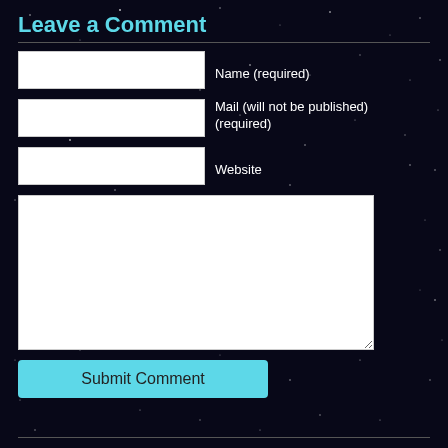Leave a Comment
Name (required)
Mail (will not be published) (required)
Website
Submit Comment